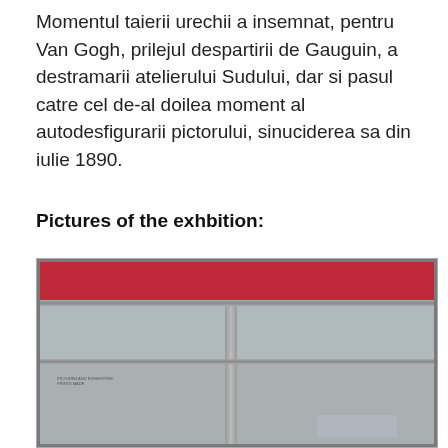Momentul taierii urechii a insemnat, pentru Van Gogh, prilejul despartirii de Gauguin, a destramarii atelierului Sudului, dar si pasul catre cel de-al doilea moment al autodesfigurarii pictorului, sinuciderea sa din iulie 1890.
Pictures of the exhbition:
[Figure (photo): Exterior photo of a storefront with a red band at the top, metal framing, and large glass windows divided by a central vertical frame. Text visible behind the glass on the lower left panel. A car reflection is visible in the lower right glass panel.]